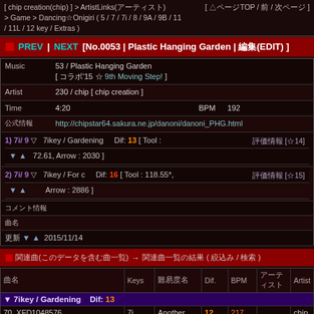[ chip creation(chip) ] > ArtistLinks(アーティスト) [ △ページTOP / 前 / 次ページ ] > Game > Dancing☆Onigiri ( 5 / 7 / 7i / 8 / 9A / 9B / 11 / 11L / 12 key / Extras )
PREV | NEXT [No.0053 | Plastic Hanging Garden | 編集(EDIT) ]
|  |  |
| --- | --- |
| Music | 53 / Plastic Hanging Garden
[ コラボ'15 ☆ 9th Moving Step! ] |
| Artist | 230 / chip [ chip creation ] |
| Time | 4:20     BPM     192 |
| 公式情報 | http://chipstar64.sakura.ne.jp/danoni/danoni_PHG.html |
| 1) 7i/ 9  ▽  7ikey / Gardening   Dif: 13 [ Tool :
▼ ▲  72.61, Arrow : 2030 ] | 評価情報 [☆14] |
| 2) 7i/ 9  ▽  7ikey / For c    Dif: 16 [ Tool : 118.55*,
▼ ▲  Arrow : 2886 ] | 評価情報 [☆15] |
| コメント情報 |  |
| 曲名 |  |
| 更新 ▼ ▲  2015/11/14 |  |
関連曲(このデータを含む曲一覧) → 関連曲一覧の結果 ( 絞込み / 検索 )
| 曲名 | Keys | 難易度名 | Dif. | BPM | アーティスト | Artist |
| --- | --- | --- | --- | --- | --- | --- |
| ▼ 7ikey / Gardening  Dif: 13 |  |  |  |  |  |  |
| 70  XFD1048576 | 7i | Another | 12 | 217 |  | chip |